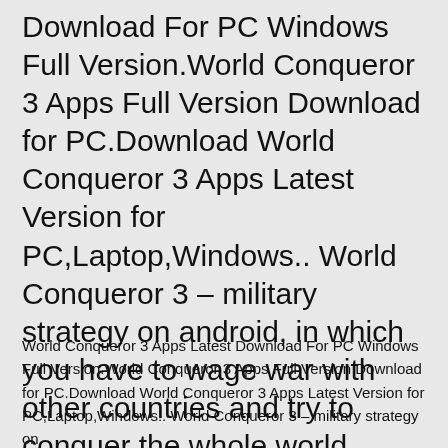Download For PC Windows Full Version.World Conqueror 3 Apps Full Version Download for PC.Download World Conqueror 3 Apps Latest Version for PC,Laptop,Windows.. World Conqueror 3 – military strategy on android, in which you have to wage war with other countries and try to conquer the whole world.
World Conqueror 3 Apps Latest Download For PC Windows Full Version.World Conqueror 3 Apps Full Version Download for PC.Download World Conqueror 3 Apps Latest Version for PC,Laptop,Windows.. World Conqueror 3 – military strategy on...